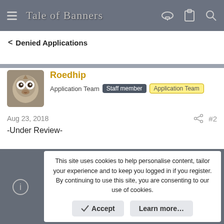Tale of Banners
Denied Applications
Roedhip
Application Team · Staff member · Application Team
Aug 23, 2018 · #2
-Under Review-
This site uses cookies to help personalise content, tailor your experience and to keep you logged in if you register. By continuing to use this site, you are consenting to our use of cookies.